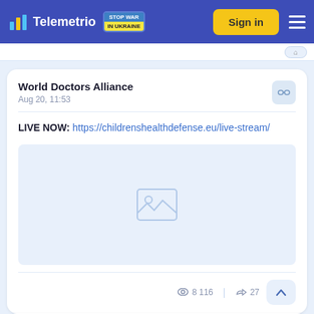Telemetrio | Stop War in Ukraine | Sign in
World Doctors Alliance
Aug 20, 11:53
LIVE NOW: https://childrenshealthdefense.eu/live-stream/
[Figure (illustration): Image placeholder icon showing a mountain/photo placeholder in a light blue box]
8 116  |  ↷ 27
World Doctors Alli...